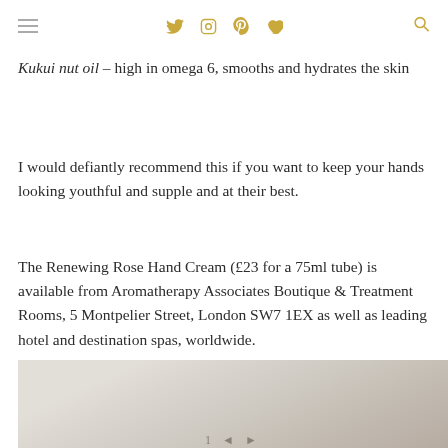navigation icons: menu, twitter, instagram, pinterest, heart, search
Kukui nut oil – high in omega 6, smooths and hydrates the skin
I would defiantly recommend this if you want to keep your hands looking youthful and supple and at their best.
The Renewing Rose Hand Cream (£23 for a 75ml tube) is available from Aromatherapy Associates Boutique & Treatment Rooms, 5 Montpelier Street, London SW7 1EX as well as leading hotel and destination spas, worldwide.
[Figure (photo): Partial photo of Aromatherapy Associates Renewing Rose Hand Cream product packaging]